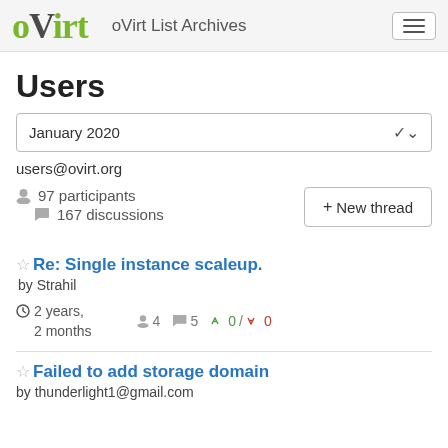oVirt | oVirt List Archives
Users
January 2020
users@ovirt.org
97 participants
167 discussions
+ New thread
Re: Single instance scaleup.
by Strahil
2 years, 2 months  4  5  0 / 0
Failed to add storage domain
by thunderlight1@gmail.com